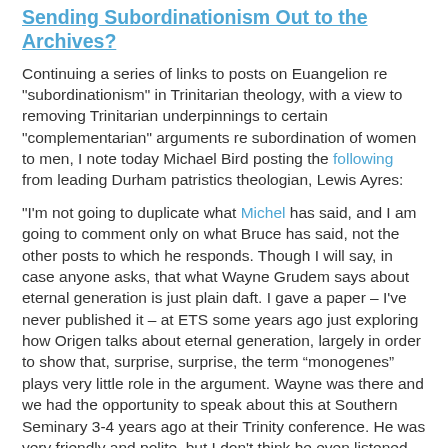Sending Subordinationism Out to the Archives?
Continuing a series of links to posts on Euangelion re "subordinationism" in Trinitarian theology, with a view to removing Trinitarian underpinnings to certain "complementarian" arguments re subordination of women to men, I note today Michael Bird posting the following from leading Durham patristics theologian, Lewis Ayres:
"I'm not going to duplicate what Michel has said, and I am going to comment only on what Bruce has said, not the other posts to which he responds. Though I will say, in case anyone asks, that what Wayne Grudem says about eternal generation is just plain daft. I gave a paper – I've never published it – at ETS some years ago just exploring how Origen talks about eternal generation, largely in order to show that, surprise, surprise, the term “monogenes” plays very little role in the argument. Wayne was there and we had the opportunity to speak about this at Southern Seminary 3-4 years ago at their Trinity conference. He was very friendly and polite, but I don't think he even listened